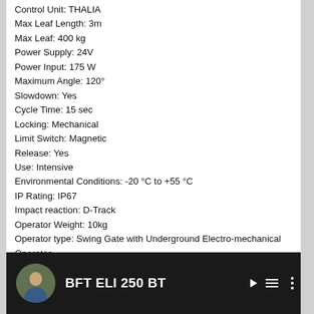Control Unit: THALIA
Max Leaf Length: 3m
Max Leaf: 400 kg
Power Supply: 24V
Power Input: 175 W
Maximum Angle: 120°
Slowdown: Yes
Cycle Time: 15 sec
Locking: Mechanical
Limit Switch: Magnetic
Release: Yes
Use: Intensive
Environmental Conditions: -20 °C to +55 °C
IP Rating: IP67
Impact reaction: D-Track
Operator Weight: 10kg
Operator type: Swing Gate with Underground Electro-mechanical Operator
Kit Contains:
1 x THALIA Control Board Unit
3 x BFT Mitto 2 Channel Transmitters
2 x BFT ELI 250 BT Operator
[Figure (screenshot): Video thumbnail for BFT ELI 250 BT showing a dark background with a circular avatar of a person, bold white text 'BFT ELI 250 BT', hamburger menu icon, and vertical three-dot menu icon]